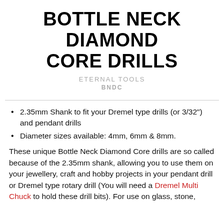BOTTLE NECK DIAMOND CORE DRILLS
ETERNAL TOOLS
BNDC
2.35mm Shank to fit your Dremel type drills (or 3/32") and pendant drills
Diameter sizes available: 4mm, 6mm & 8mm.
These unique Bottle Neck Diamond Core drills are so called because of the 2.35mm shank, allowing you to use them on your jewellery, craft and hobby projects in your pendant drill or Dremel type rotary drill (You will need a Dremel Multi Chuck to hold these drill bits). For use on glass, stone,